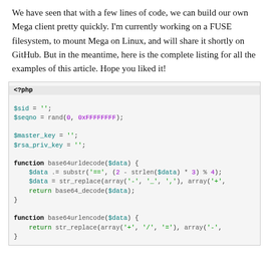We have seen that with a few lines of code, we can build our own Mega client pretty quickly. I'm currently working on a FUSE filesystem, to mount Mega on Linux, and will share it shortly on GitHub. But in the meantime, here is the complete listing for all the examples of this article. Hope you liked it!
[Figure (screenshot): PHP code block showing variable declarations ($sid, $seqno, $master_key, $rsa_priv_key) and two functions: base64urldecode and base64urlencode]